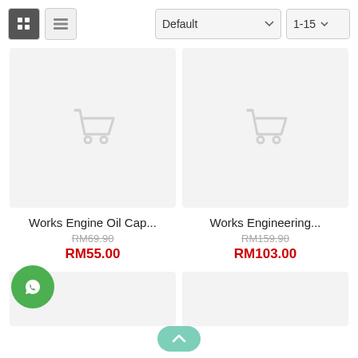[Figure (screenshot): Toolbar with grid/list view toggle buttons and Default and 1-15 dropdown selectors]
[Figure (illustration): Product card: Works Engine Oil Cap... with original price RM69.90 crossed out and sale price RM55.00 in red, placeholder image with shopping cart icon]
Works Engine Oil Cap...
RM69.90
RM55.00
[Figure (illustration): Product card: Works Engineering... with original price RM159.90 crossed out and sale price RM103.00 in red, placeholder image with shopping cart icon]
Works Engineering...
RM159.90
RM103.00
[Figure (illustration): WhatsApp floating button (green circle with phone icon)]
[Figure (illustration): Scroll to top button (teal rounded rectangle with up arrow)]